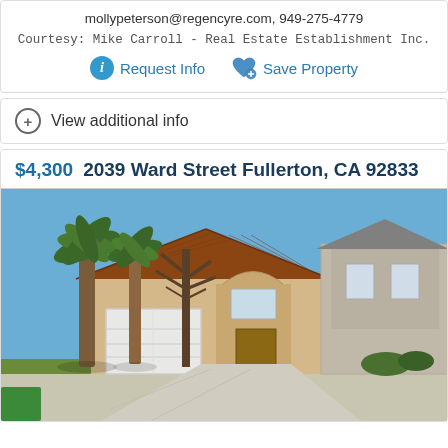mollypeterson@regencyre.com, 949-275-4779
Courtesy: Mike Carroll - Real Estate Establishment Inc.
Request Info
Save Property
View additional info
$4,300  2039 Ward Street Fullerton, CA 92833
[Figure (photo): Exterior photo of a single-family home at 2039 Ward Street, Fullerton, CA 92833. Spanish-style house with tile roof, garage door, palm trees in the foreground, blue sky background, and neighboring house visible on the right.]